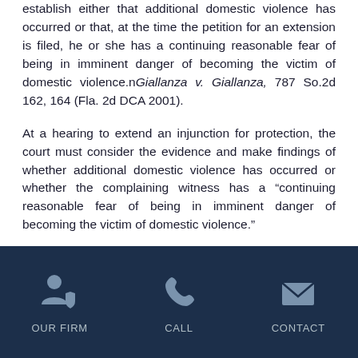establish either that additional domestic violence has occurred or that, at the time the petition for an extension is filed, he or she has a continuing reasonable fear of being in imminent danger of becoming the victim of domestic violence.n Giallanza v. Giallanza, 787 So.2d 162, 164 (Fla. 2d DCA 2001).
At a hearing to extend an injunction for protection, the court must consider the evidence and make findings of whether additional domestic violence has occurred or whether the complaining witness has a “continuing reasonable fear of being in imminent danger of becoming the victim of domestic violence.”
At such a hearing, the trial court must also give the
OUR FIRM   CALL   CONTACT